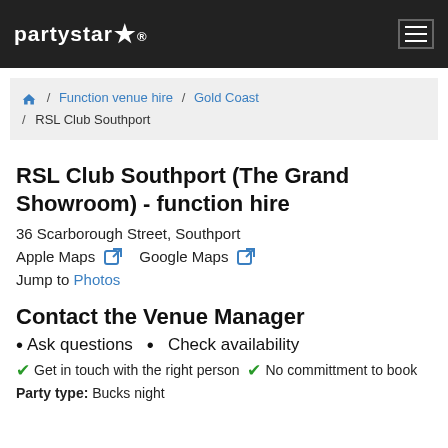PARTYSTAR
Home / Function venue hire / Gold Coast / RSL Club Southport
RSL Club Southport (The Grand Showroom) - function hire
36 Scarborough Street, Southport
Apple Maps   Google Maps
Jump to Photos
Contact the Venue Manager
Ask questions   Check availability
Get in touch with the right person   No committment to book
Party type: Bucks night